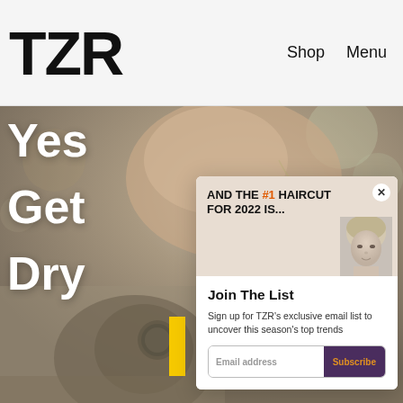TZR  Shop  Menu
[Figure (photo): Background photo of a person's hands near their neck wearing rings and a necklace, blurred bokeh background. Overlaid with large white bold text: Yes, Get, Dry and a yellow accent bar.]
AND THE #1 HAIRCUT FOR 2022 IS...
Join The List
Sign up for TZR's exclusive email list to uncover this season's top trends
Email address  Subscribe